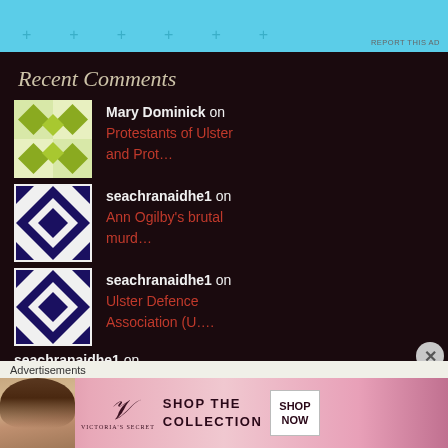[Figure (other): Top advertisement banner in light blue with plus signs and 'REPORT THIS AD' label]
Recent Comments
Mary Dominick on Protestants of Ulster and Prot….
seachranaidhe1 on Ann Ogilby's brutal murd….
seachranaidhe1 on Ulster Defence Association (U….
seachranaidhe1 on
[Figure (other): Advertisement banner: Victoria's Secret - Shop The Collection - Shop Now]
Advertisements